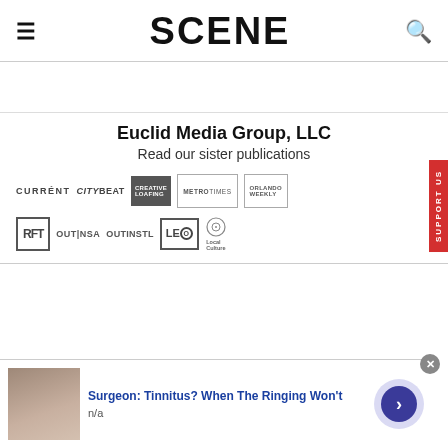SCENE
Euclid Media Group, LLC
Read our sister publications
[Figure (logo): Row of publication logos: CURRENT, CityBeat, Creative Loafing, MetroTimes, Orlando Weekly, RFT, OUT|NSA, OUTINSTL, LEO, Local Culture]
Surgeon: Tinnitus? When The Ringing Won't
n/a